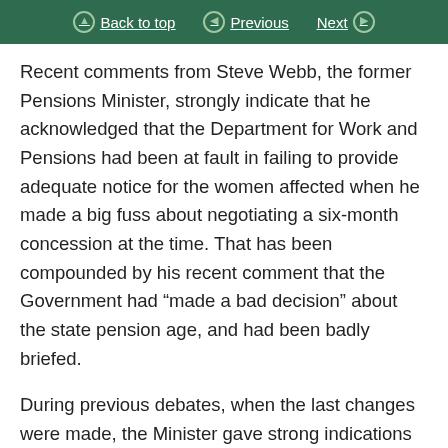Back to top | Previous | Next
Recent comments from Steve Webb, the former Pensions Minister, strongly indicate that he acknowledged that the Department for Work and Pensions had been at fault in failing to provide adequate notice for the women affected when he made a big fuss about negotiating a six-month concession at the time. That has been compounded by his recent comment that the Government had “made a bad decision” about the state pension age, and had been badly briefed.
During previous debates, when the last changes were made, the Minister gave strong indications that transitional arrangements would be made for the worst affected, but that has not happened. Why not? Will the Minister please revisit that